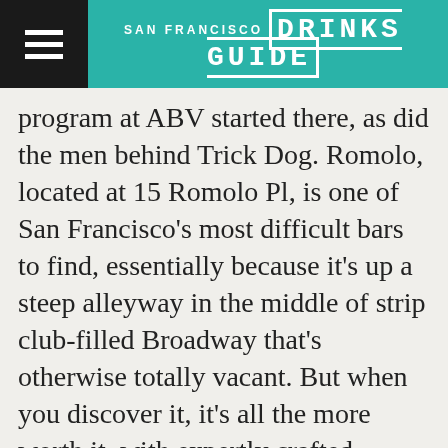SAN FRANCISCO DRINKS GUIDE
program at ABV started there, as did the men behind Trick Dog. Romolo, located at 15 Romolo Pl, is one of San Francisco's most difficult bars to find, essentially because it's up a steep alleyway in the middle of strip club-filled Broadway that's otherwise totally vacant. But when you discover it, it's all the more worth it, with expertly crafted cocktails, a photo booth, and all the dark corners you could ever want. To get in, go north on Romolo Pl until